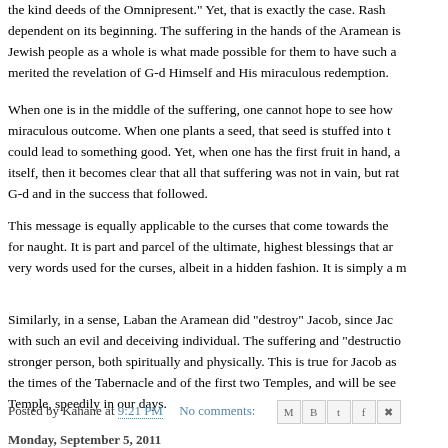dependent on its beginning. The suffering in the hands of the Aramean is Jewish people as a whole is what made possible for them to have such a merited the revelation of G-d Himself and His miraculous redemption.
When one is in the middle of the suffering, one cannot hope to see how miraculous outcome. When one plants a seed, that seed is stuffed into the could lead to something good. Yet, when one has the first fruit in hand, a itself, then it becomes clear that all that suffering was not in vain, but rath G-d and in the success that followed.
This message is equally applicable to the curses that come towards the for naught. It is part and parcel of the ultimate, highest blessings that are very words used for the curses, albeit in a hidden fashion. It is simply a m
Similarly, in a sense, Laban the Aramean did "destroy" Jacob, since Jaco with such an evil and deceiving individual. The suffering and "destruction stronger person, both spiritually and physically. This is true for Jacob as the times of the Tabernacle and of the first two Temples, and will be seen Temple, speedily in our days.
Posted by Kahane at 9:21 PM   No comments:
Monday, September 5, 2011